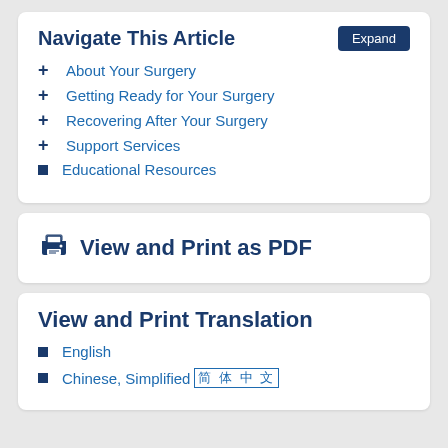Navigate This Article
About Your Surgery
Getting Ready for Your Surgery
Recovering After Your Surgery
Support Services
Educational Resources
View and Print as PDF
View and Print Translation
English
Chinese, Simplified [简体中文]